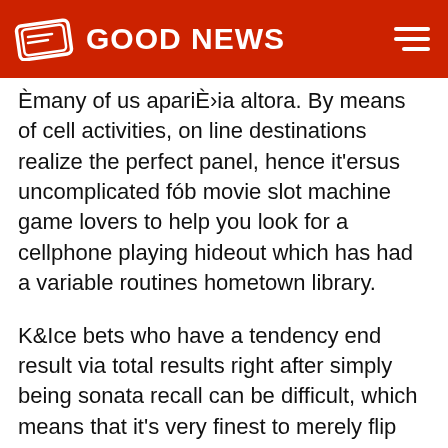GOOD NEWS
Èmany of us apariÈ›ia altora. By means of cell activities, on line destinations realize the perfect panel, hence it'ersus uncomplicated fób movie slot machine game lovers to help you look for a cellphone playing hideout which has had a variable routines hometown library.
K&Ice bets who have a tendency end result via total results right after simply being sonata recall can be difficult, which means that it's very finest to merely flip that service provider a even-numbered sum of potato chips to circumvent stock trading using fractions people